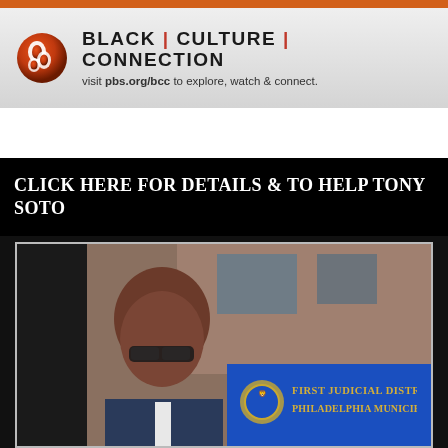[Figure (logo): PBS Black Culture Connection banner with PBS logo, bold text 'BLACK | CULTURE | CONNECTION' and URL 'visit pbs.org/bcc to explore, watch & connect.']
CLICK HERE FOR DETAILS & TO HELP TONY SOTO
[Figure (photo): Photo of Tony Soto, a bald man wearing glasses, standing in front of a blue sign reading 'FIRST JUDICIAL DISTRICT PHILADELPHIA MUNICIPAL COURT']